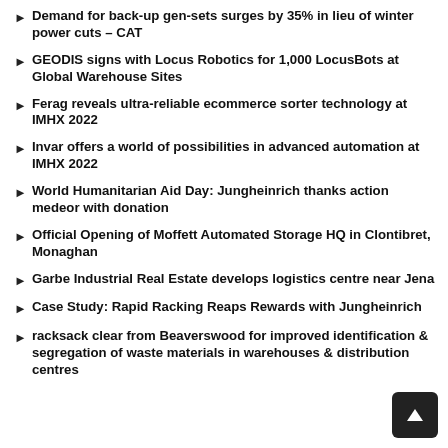Demand for back-up gen-sets surges by 35% in lieu of winter power cuts – CAT
GEODIS signs with Locus Robotics for 1,000 LocusBots at Global Warehouse Sites
Ferag reveals ultra-reliable ecommerce sorter technology at IMHX 2022
Invar offers a world of possibilities in advanced automation at IMHX 2022
World Humanitarian Aid Day: Jungheinrich thanks action medeor with donation
Official Opening of Moffett Automated Storage HQ in Clontibret, Monaghan
Garbe Industrial Real Estate develops logistics centre near Jena
Case Study: Rapid Racking Reaps Rewards with Jungheinrich
racksack clear from Beaverswood for improved identification & segregation of waste materials in warehouses & distribution centres